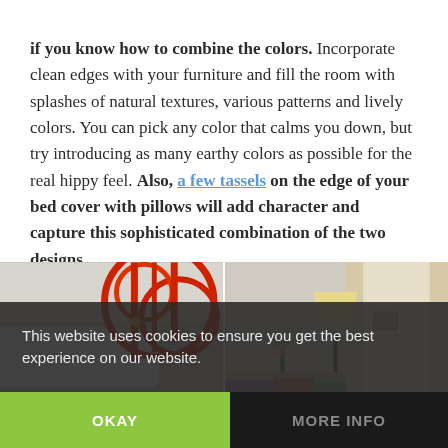if you know how to combine the colors. Incorporate clean edges with your furniture and fill the room with splashes of natural textures, various patterns and lively colors. You can pick any color that calms you down, but try introducing as many earthy colors as possible for the real hippy feel. Also, a few tassels on the edge of your bed cover with pillows will add character and capture this sophisticated combination of the two designs.
[Figure (photo): Two bedroom interior photos side by side: left shows a red ornate iron headboard with white pillows; right shows a bright room with a floor lamp and colorful bedding.]
This website uses cookies to ensure you get the best experience on our website.
OKAY
MORE INFO